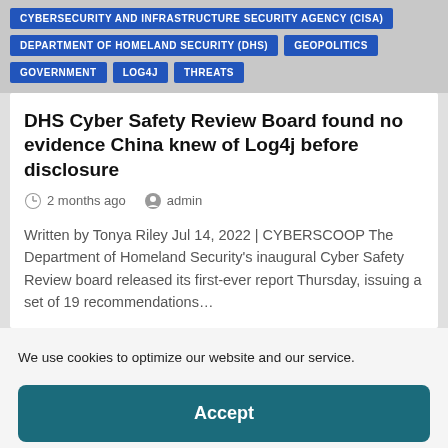CYBERSECURITY AND INFRASTRUCTURE SECURITY AGENCY (CISA)
DEPARTMENT OF HOMELAND SECURITY (DHS)
GEOPOLITICS
GOVERNMENT
LOG4J
THREATS
DHS Cyber Safety Review Board found no evidence China knew of Log4j before disclosure
2 months ago   admin
Written by Tonya Riley Jul 14, 2022 | CYBERSCOOP The Department of Homeland Security’s inaugural Cyber Safety Review board released its first-ever report Thursday, issuing a set of 19 recommendations…
We use cookies to optimize our website and our service.
Accept
Cookie Policy   Privacy Statement   Imprint